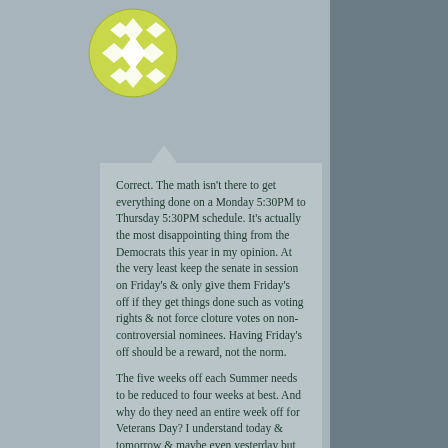[Figure (illustration): Circular avatar icon with a yellow-green background and white diamond/crosshatch pattern in the center]
Correct. The math isn't there to get everything done on a Monday 5:30PM to Thursday 5:30PM schedule. It's actually the most disappointing thing from the Democrats this year in my opinion. At the very least keep the senate in session on Friday's & only give them Friday's off if they get things done such as voting rights & not force cloture votes on non-controversial nominees. Having Friday's off should be a reward, not the norm.

The five weeks off each Summer needs to be reduced to four weeks at best. And why do they need an entire week off for Veterans Day? I understand today & tomorrow & maybe even yesterday but why Monday & Tuesday? It's absolutely